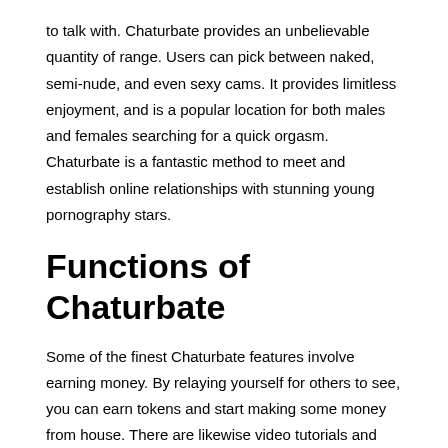to talk with. Chaturbate provides an unbelievable quantity of range. Users can pick between naked, semi-nude, and even sexy cams. It provides limitless enjoyment, and is a popular location for both males and females searching for a quick orgasm. Chaturbate is a fantastic method to meet and establish online relationships with stunning young pornography stars.
Functions of Chaturbate
Some of the finest Chaturbate features involve earning money. By relaying yourself for others to see, you can earn tokens and start making some money from house. There are likewise video tutorials and assistance on how to build a big fan base and make cash on Chaturbate.
Apart from being an excellent place to see live programs, Chaturbate also has numerous modification functions. In order to make more cash, you can customize your profile. There are some